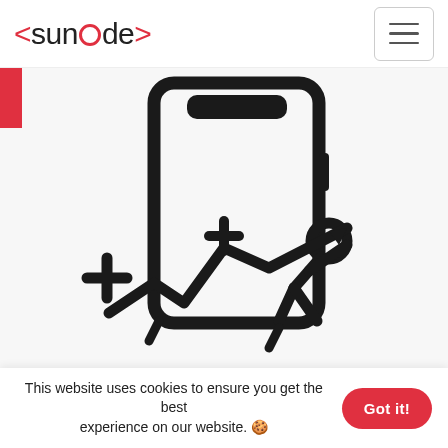<suncode> [hamburger menu]
[Figure (illustration): Illustration of a smartphone with a person pushing up a line/growth chart with plus signs, rendered in black on white/light grey background. Red accent bar on the left side.]
This website uses cookies to ensure you get the best experience on our website. 🍪 Got it!